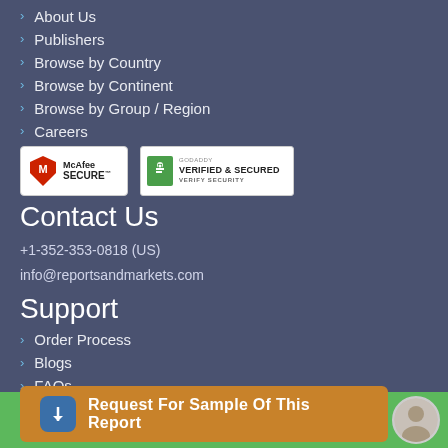About Us
Publishers
Browse by Country
Browse by Continent
Browse by Group / Region
Careers
[Figure (logo): McAfee SECURE badge and GoDaddy Verified & Secured badge]
Contact Us
+1-352-353-0818 (US)
info@reportsandmarkets.com
Support
Order Process
Blogs
FAQs
Privacy Policy
Terms & Conditions
Sitemap
Request For Sample Of This Report